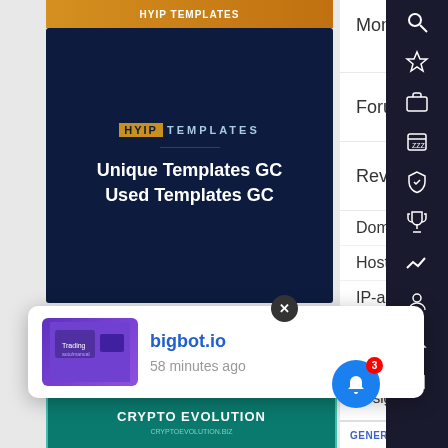[Figure (screenshot): Left panel with HYIP Templates advertisement card showing dark blue background with logo and text 'Unique Templates GC Used Templates GC']
[Figure (screenshot): Crypto Evolution advertisement card with teal background showing percentage returns: 120%, 180%, 300%]
Seasonal
Monitors 13 • incredible-e more...
Forums
Reviews:
Domain: NameCheap,
Hosting: INVESTORS S
IP-address: –
SSL: EssentialSSL
not defined
design: 0
GENERAL INFORMATION DEPOSIT
bigbot.io
58 minutes ago